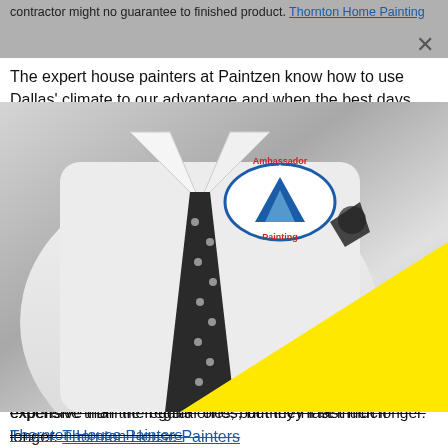contractor might no guarantee to finished product. Thornton Home Painting
The expert house painters at Paintzen know how to use Dallas' climate to our advantage and when the best days are to paint. Here in North Texas, we can, fortunately, paint exteriors throughout much of the year and not just in the summertime, as with many other parts of the country. Fall e p o h If w s p te s T ta order to make sure the paint job survives all that, you should use high-quality acrylic latex paint. They're a tad more expensive than the regular ones, but they'll last much longer. Thornton House Painters
[Figure (photo): Black and white photo of a man in a white dress shirt with a polka dot tie and pocket square, with an Ambassador Painting logo on the shirt. A large yellow triangle overlays the right portion of the image.]